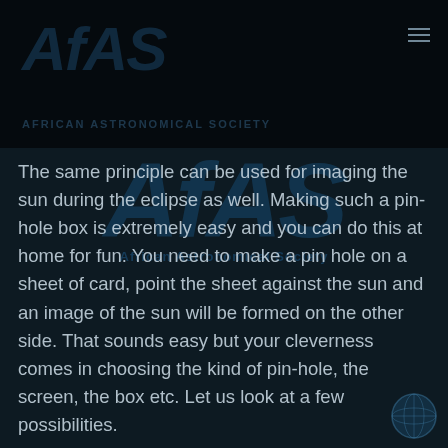[Figure (logo): AfAS (African Astronomical Society) watermark logo displayed twice — once in the dark top banner and once as a large centered overlay in the content area. The logo shows 'AfAS' in bold italic with 'African Astronomical Society' subtitle, rendered in dark blue tones with low opacity.]
The same principle can be used for imaging the sun during the eclipse as well. Making such a pin-hole box is extremely easy and you can do this at home for fun. You need to make a pin hole on a sheet of card, point the sheet against the sun and an image of the sun will be formed on the other side. That sounds easy but your cleverness comes in choosing the kind of pin-hole, the screen, the box etc. Let us look at a few possibilities.